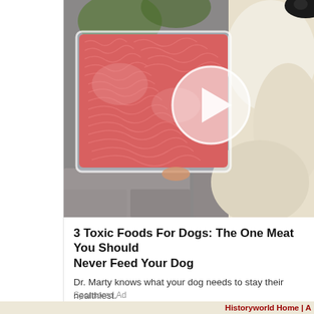[Figure (photo): Photo of a dog looking at a container of raw ground meat, with a video play button overlay in the center of the image.]
3 Toxic Foods For Dogs: The One Meat You Should Never Feed Your Dog
Dr. Marty knows what your dog needs to stay their healthiest.
Watch The Video
Sponsored Ad
Historyworld Home | A